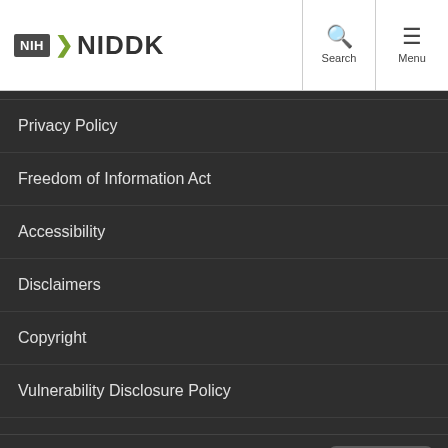NIH NIDDK — Search, Menu
Privacy Policy
Freedom of Information Act
Accessibility
Disclaimers
Copyright
Vulnerability Disclosure Policy
Site Map
For Staff Only
Jobs at NIDDK